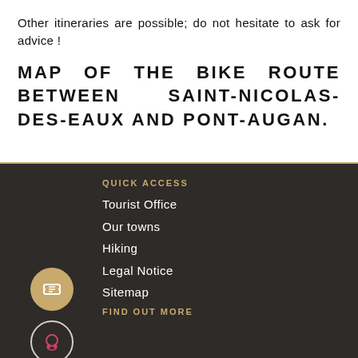Other itineraries are possible; do not hesitate to ask for advice !
MAP OF THE BIKE ROUTE BETWEEN SAINT-NICOLAS-DES-EAUX AND PONT-AUGAN.
QUICK ACCESS
Tourist Office
Our towns
Hiking
Legal Notice
Sitemap
FIND OUT MORE